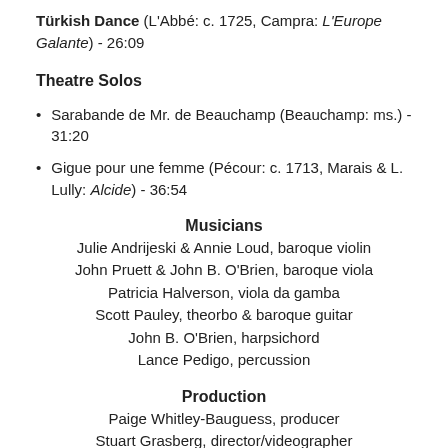Turkish Dance (L'Abbé: c. 1725, Campra: L'Europe Galante) - 26:09
Theatre Solos
Sarabande de Mr. de Beauchamp (Beauchamp: ms.) - 31:20
Gigue pour une femme (Pécour: c. 1713, Marais & L. Lully: Alcide) - 36:54
Musicians
Julie Andrijeski & Annie Loud, baroque violin
John Pruett & John B. O'Brien, baroque viola
Patricia Halverson, viola da gamba
Scott Pauley, theorbo & baroque guitar
John B. O'Brien, harpsichord
Lance Pedigo, percussion
Production
Paige Whitley-Bauguess, producer
Stuart Grasberg, director/videographer
Randy Culp, videographer/audio recording